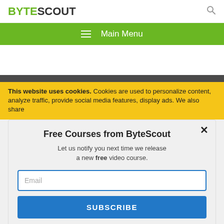[Figure (logo): ByteScout logo with BYTE in green and SCOUT in dark gray, bold font]
[Figure (screenshot): Green main menu navigation bar with hamburger icon and 'Main Menu' text in white]
This website uses cookies. Cookies are used to personalize content, analyze traffic, provide social media features, display ads. We also share
Free Courses from ByteScout
Let us notify you next time we release a new free video course.
Email
SUBSCRIBE